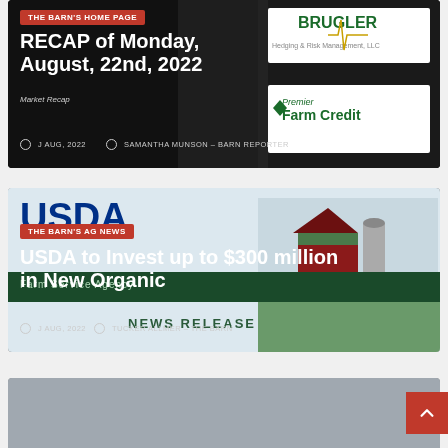[Figure (screenshot): Card with black background showing 'THE BARN'S HOME PAGE' tag, title 'RECAP of Monday, August, 22nd, 2022', Market Recap subtitle, Brugler and Premier Farm Credit logos, authored by Samantha Munson - Barn Reporter, dated Aug 2022]
[Figure (screenshot): Card with dark background showing USDA Farm Service Agency imagery, 'THE BARN'S AG NEWS' tag, title 'USDA to Invest up to $300 million in New Organic', NEWS RELEASE text overlay, authored by Tucker Allmer - The Barn, dated Aug 2022]
[Figure (screenshot): Partial third card visible at bottom of page]